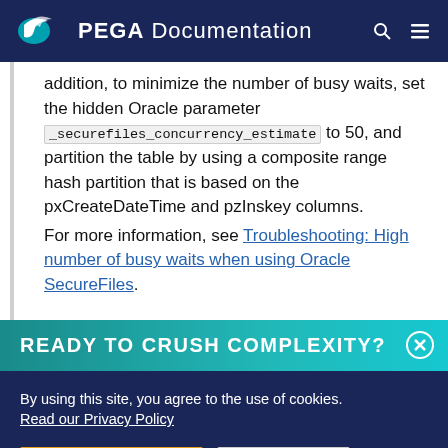PEGA Documentation
addition, to minimize the number of busy waits, set the hidden Oracle parameter _securefiles_concurrency_estimate to 50, and partition the table by using a composite range hash partition that is based on the pxCreateDateTime and pzInskey columns.
For more information, see Troubleshooting: High number of busy waits when using Oracle SecureFiles.
READY TO CRUSH COMPLEXITY?
By using this site, you agree to the use of cookies. Read our Privacy Policy
Accept and continue   About cookies